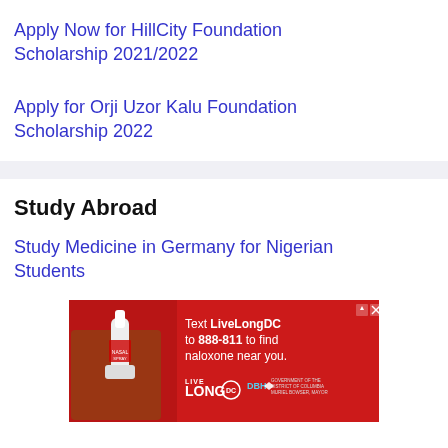Apply Now for HillCity Foundation Scholarship 2021/2022
Apply for Orji Uzor Kalu Foundation Scholarship 2022
Study Abroad
Study Medicine in Germany for Nigerian Students
[Figure (photo): Advertisement banner with red background showing a hand holding a nasal spray. Text reads: Text LiveLongDC to 888-811 to find naloxone near you. Live Long DC DBH Government of the District of Columbia, Muriel Bowser Mayor.]